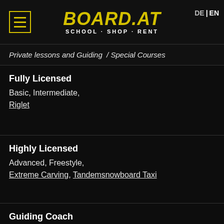BOARD.AT SCHOOL · SHOP · RENT — DE | EN
Private lessons and Guiding / Special Courses
Fully Licensed
Basic, Intermediate,
Riglet
Highly Licensed
Advanced, Freestyle,
Extreme Carving, Tandemsnowboard Taxi
Guiding Coach
Freeride, Splitboard Tours